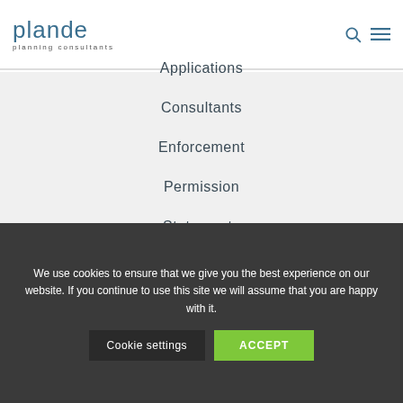plande planning consultants
Applications
Consultants
Enforcement
Permission
Statements
We use cookies to ensure that we give you the best experience on our website. If you continue to use this site we will assume that you are happy with it.
Cookie settings   ACCEPT